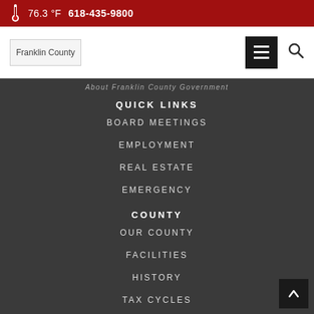76.3 °F   618-435-9800
[Figure (logo): Franklin County logo/wordmark in the navigation bar]
About Franklin County Government
QUICK LINKS
BOARD MEETINGS
EMPLOYMENT
REAL ESTATE
EMERGENCY
COUNTY
OUR COUNTY
FACILITIES
HISTORY
TAX CYCLES
TRANSPARENCY